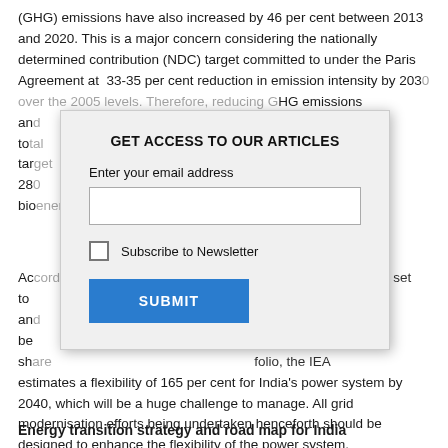(GHG) emissions have also increased by 46 per cent between 2013 and 2020. This is a major concern considering the nationally determined contribution (NDC) target committed to under the Paris Agreement at 33-35 per cent reduction in emission intensity by 2030 over the 2005 levels. Therefore, reducing GHG emissions and... fossil fuel share in total... has set a new target... This consists of 280... small-hydro, bio...
[Figure (other): Modal dialog box with title 'GET ACCESS TO OUR ARTICLES', an email address input field, a 'Subscribe to Newsletter' checkbox, and a blue SUBMIT button.]
Acc... power system is set to... 23 GW by 2030, and... GW is expected to be... sidering this large sha... folio, the IEA estimates a flexibility of 165 per cent for India's power system by 2040, which will be a huge challenge to manage. All grid modernisation efforts being undertaken henceforth should be designed to enhance the flexibility of the power system.
Energy transition strategy and road map for India